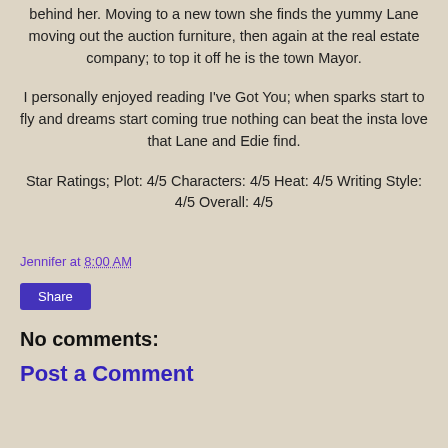behind her. Moving to a new town she finds the yummy Lane moving out the auction furniture, then again at the real estate company; to top it off he is the town Mayor.
I personally enjoyed reading I've Got You; when sparks start to fly and dreams start coming true nothing can beat the insta love that Lane and Edie find.
Star Ratings; Plot: 4/5 Characters: 4/5 Heat: 4/5 Writing Style: 4/5 Overall: 4/5
Jennifer at 8:00 AM
Share
No comments:
Post a Comment